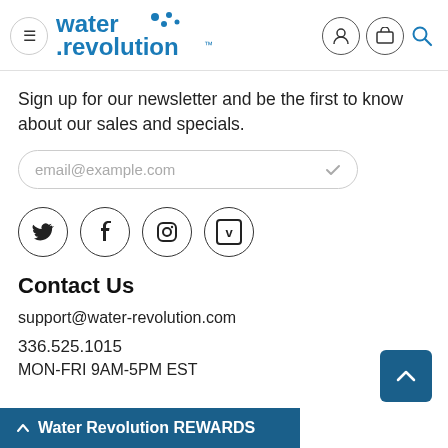water evolution (logo with menu, user, cart, search icons)
Sign up for our newsletter and be the first to know about our sales and specials.
[Figure (screenshot): Email input field with placeholder text email@example.com and a checkmark icon]
[Figure (infographic): Row of four social media icon circles: Twitter (bird), Facebook (f), Instagram (camera), Vimeo (v box)]
Contact Us
support@water-revolution.com
336.525.1015
MON-FRI 9AM-5PM EST
Water Revolution REWARDS